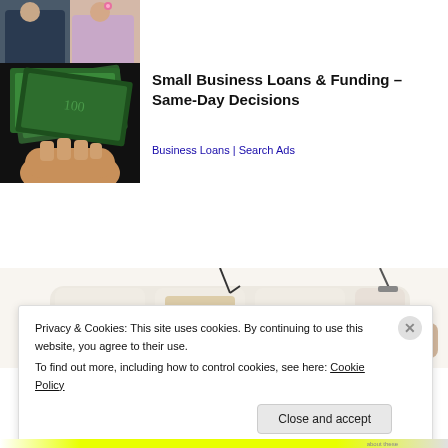[Figure (photo): Two people (man and woman) sitting together, partially cropped at top of page]
[Figure (photo): Hands holding a fan of US dollar bills against a dark background]
Small Business Loans & Funding – Same-Day Decisions
Business Loans | Search Ads
[Figure (photo): Modern white/cream sectional sofa with built-in speakers and lighting, partially visible]
Privacy & Cookies: This site uses cookies. By continuing to use this website, you agree to their use.
To find out more, including how to control cookies, see here: Cookie Policy
Close and accept